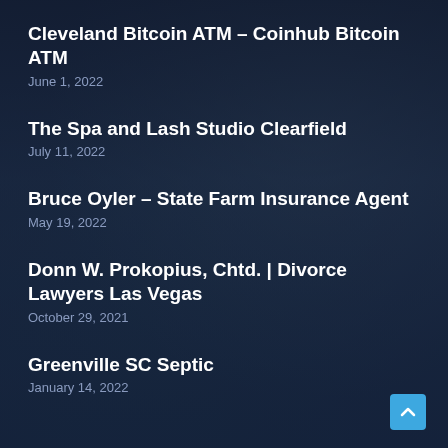Cleveland Bitcoin ATM – Coinhub Bitcoin ATM
June 1, 2022
The Spa and Lash Studio Clearfield
July 11, 2022
Bruce Oyler – State Farm Insurance Agent
May 19, 2022
Donn W. Prokopius, Chtd. | Divorce Lawyers Las Vegas
October 29, 2021
Greenville SC Septic
January 14, 2022